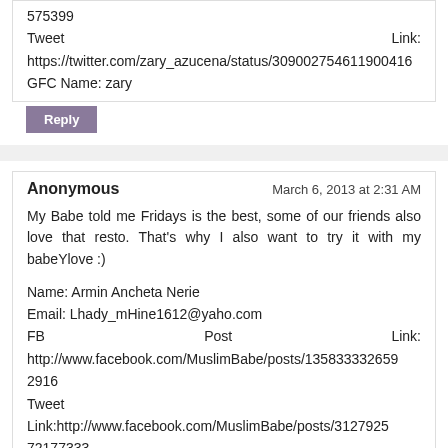575399
Tweet                                                                    Link: https://twitter.com/zary_azucena/status/309002754611900416
GFC Name: zary
Reply
Anonymous                                          March 6, 2013 at 2:31 AM
My Babe told me Fridays is the best, some of our friends also love that resto. That's why I also want to try it with my babeYlove :)
Name: Armin Ancheta Nerie
Email: Lhady_mHine1612@yaho.com
FB                              Post                              Link: http://www.facebook.com/MuslimBabe/posts/135833332659 2916
Tweet Link:http://www.facebook.com/MuslimBabe/posts/3127925 72177333
GFC Name: Min Nerie
Reply